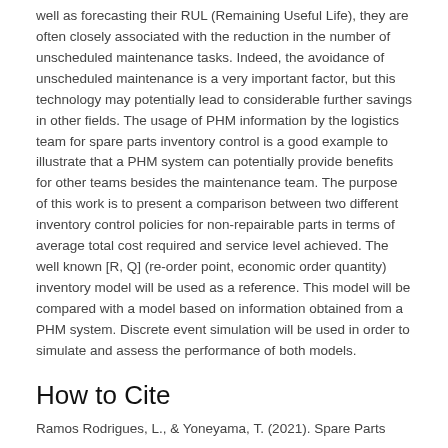well as forecasting their RUL (Remaining Useful Life), they are often closely associated with the reduction in the number of unscheduled maintenance tasks. Indeed, the avoidance of unscheduled maintenance is a very important factor, but this technology may potentially lead to considerable further savings in other fields. The usage of PHM information by the logistics team for spare parts inventory control is a good example to illustrate that a PHM system can potentially provide benefits for other teams besides the maintenance team. The purpose of this work is to present a comparison between two different inventory control policies for non-repairable parts in terms of average total cost required and service level achieved. The well known [R, Q] (re-order point, economic order quantity) inventory model will be used as a reference. This model will be compared with a model based on information obtained from a PHM system. Discrete event simulation will be used in order to simulate and assess the performance of both models.
How to Cite
Ramos Rodrigues, L., & Yoneyama, T. (2021). Spare Parts